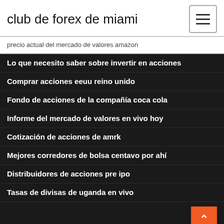club de forex de miami
precio actual del mercado de valores amazon
Lo que necesito saber sobre invertir en acciones
Comprar acciones eeuu reino unido
Fondo de acciones de la compañía coca cola
Informe del mercado de valores en vivo hoy
Cotización de acciones de amrk
Mejores corredores de bolsa centavo por ahí
Distribuidores de acciones pre ipo
Tasas de divisas de uganda en vivo
Empresa de ideas comerciales
Sentimiento del mercado de criptomonedas